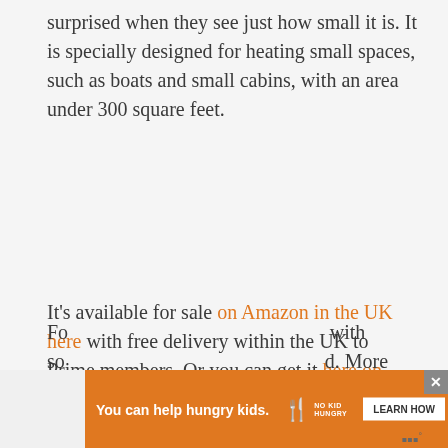surprised when they see just how small it is. It is specially designed for heating small spaces, such as boats and small cabins, with an area under 300 square feet.
It's available for sale on Amazon in the UK here with free delivery within the UK to Prime members. Or you can get it here on eBay in the US (new models approx US$400+).
However, having it shipped to the US from the UK (where it is assembled) does cost a significant amount.
[Figure (other): Advertisement banner: orange background with text 'You can help hungry kids.' with No Kid Hungry logo and a 'LEARN HOW' button, with close button (X) in top right]